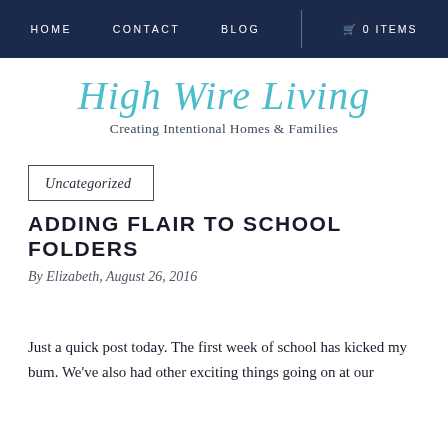HOME   CONTACT   BLOG   🛒 0 ITEMS
High Wire Living
Creating Intentional Homes & Families
Uncategorized
ADDING FLAIR TO SCHOOL FOLDERS
By Elizabeth, August 26, 2016
Just a quick post today. The first week of school has kicked my bum. We've also had other exciting things going on at our